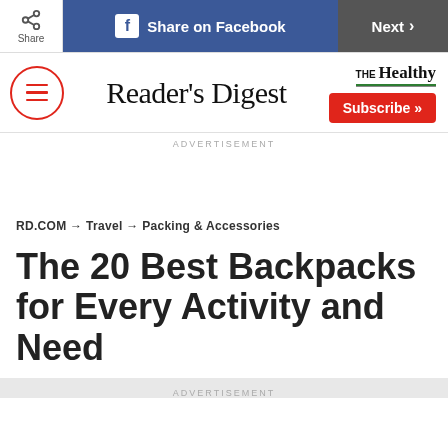Share | Share on Facebook | Next
[Figure (logo): Reader's Digest logo with hamburger menu icon on the left and THE Healthy logo with Subscribe button on the right]
ADVERTISEMENT
RD.COM → Travel → Packing & Accessories
The 20 Best Backpacks for Every Activity and Need
ADVERTISEMENT